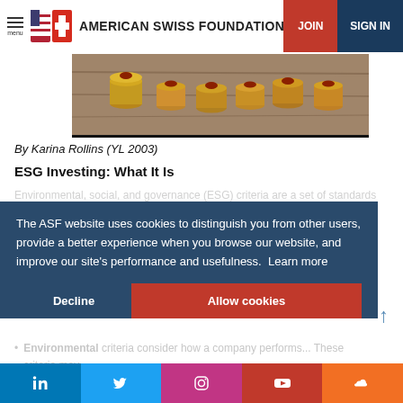AMERICAN SWISS FOUNDATION
[Figure (photo): Stacks of coins arranged in a row on a wooden surface, viewed from the side.]
By Karina Rollins (YL 2003)
ESG Investing: What It Is
Environmental, social, and governance (ESG) criteria are a set of standards that socially conscious investors can use to decide whether to invest in a certain company.
The ASF website uses cookies to distinguish you from other users, provide a better experience when you browse our website, and improve our site's performance and usefulness. Learn more
Environmental criteria consider how a company performs... These criteria may
[Figure (logo): Social media bar with LinkedIn, Twitter, Instagram, YouTube, and SoundCloud icons.]